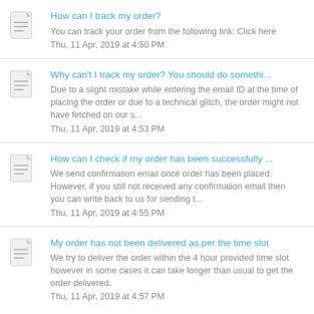How can I track my order?
You can track your order from the following link:  Click here
Thu, 11 Apr, 2019 at 4:50 PM
Why can't I track my order? You should do somethi...
Due to a slight mistake while entering the email ID at the time of placing the order or due to a technical glitch, the order might not have fetched on our s...
Thu, 11 Apr, 2019 at 4:53 PM
How can I check if my order has been successfully ...
We send confirmation email once order has been placed. However, if you still not received any confirmation email then you can write back to us for sending t...
Thu, 11 Apr, 2019 at 4:55 PM
My order has not been delivered as per the time slot
We try to deliver the order within the 4 hour provided time slot however in some cases it can take longer than usual to get the order delivered.
Thu, 11 Apr, 2019 at 4:57 PM